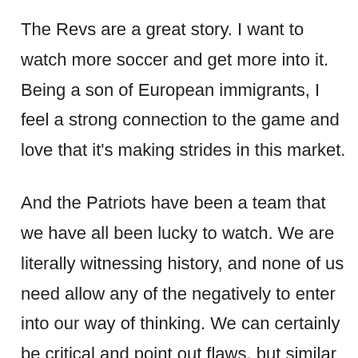The Revs are a great story. I want to watch more soccer and get more into it. Being a son of European immigrants, I feel a strong connection to the game and love that it's making strides in this market.
And the Patriots have been a team that we have all been lucky to watch. We are literally witnessing history, and none of us need allow any of the negatively to enter into our way of thinking. We can certainly be critical and point out flaws, but similar to the